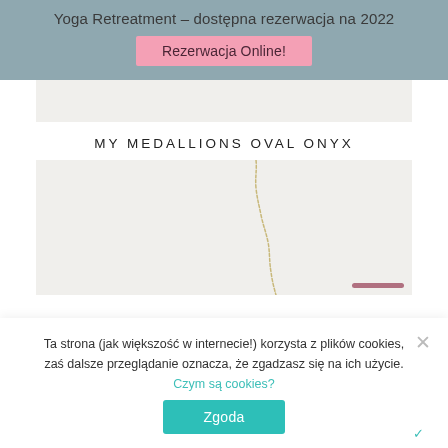Yoga Retreatment – dostępna rezerwacja na 2022
Rezerwacja Online!
[Figure (photo): Product image top partial view, light gray/white background]
MY MEDALLIONS OVAL ONYX
[Figure (photo): Product photo showing a delicate gold chain necklace on white background]
Ta strona (jak większość w internecie!) korzysta z plików cookies, zaś dalsze przeglądanie oznacza, że zgadzasz się na ich użycie.
Czym są cookies?
Zgoda